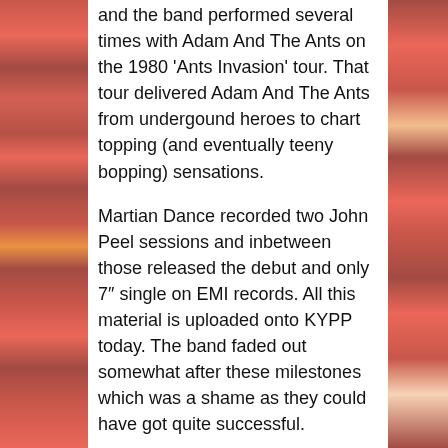and the band performed several times with Adam And The Ants on the 1980 'Ants Invasion' tour. That tour delivered Adam And The Ants from undergound heroes to chart topping (and eventually teeny bopping) sensations.
Martian Dance recorded two John Peel sessions and inbetween those released the debut and only 7" single on EMI records. All this material is uploaded onto KYPP today. The band faded out somewhat after these milestones which was a shame as they could have got quite successful.
Give Martian Dance a try; these tracks are well worth the time to listen to.
Thanks to Bradley Hall, himself a 1978 era Ants follower and soon to be Martian Dance supporter for supplying me with the Peel sessions uploaded onto this post.